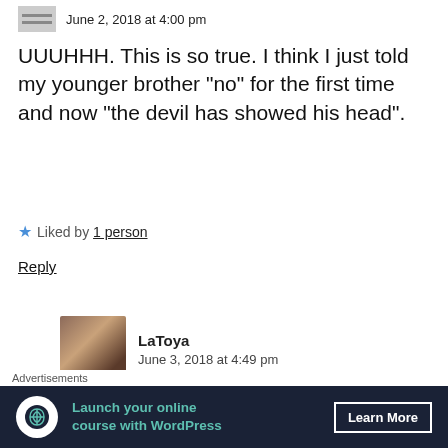June 2, 2018 at 4:00 pm
UUUHHH. This is so true. I think I just told my younger brother “no” for the first time and now “the devil has showed his head”.
★ Liked by 1 person
Reply
LaToya
June 3, 2018 at 4:49 pm
Sadly, that’s usually how it goes. But it’s
Advertisements
[Figure (screenshot): Advertisement banner: Launch your online course with WordPress. Learn More button.]